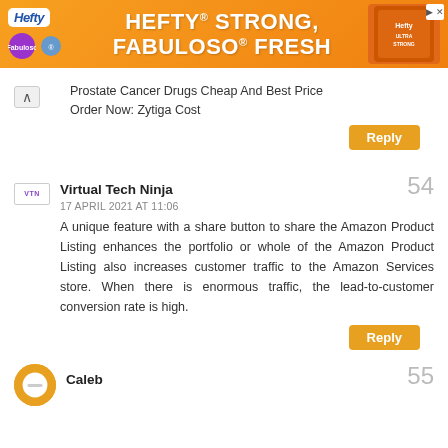[Figure (screenshot): Hefty Fabuloso advertisement banner with orange background, white bold text reading 'HEFTY STRONG, FABULOSO FRESH']
Prostate Cancer Drugs Cheap And Best Price Order Now: Zytiga Cost
Reply
Virtual Tech Ninja
54
17 APRIL 2021 AT 11:06
A unique feature with a share button to share the Amazon Product Listing enhances the portfolio or whole of the Amazon Product Listing also increases customer traffic to the Amazon Services store. When there is enormous traffic, the lead-to-customer conversion rate is high.
Reply
Caleb
55